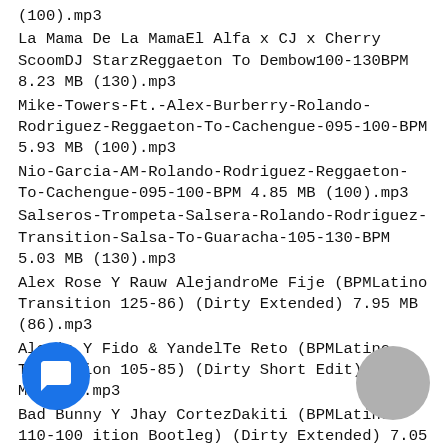(100).mp3
La Mama De La MamaEl Alfa x CJ x Cherry ScoomDJ StarzReggaeton To Dembow100-130BPM 8.23 MB (130).mp3
Mike-Towers-Ft.-Alex-Burberry-Rolando-Rodriguez-Reggaeton-To-Cachengue-095-100-BPM 5.93 MB (100).mp3
Nio-Garcia-AM-Rolando-Rodriguez-Reggaeton-To-Cachengue-095-100-BPM 4.85 MB (100).mp3
Salseros-Trompeta-Salsera-Rolando-Rodriguez-Transition-Salsa-To-Guaracha-105-130-BPM 5.03 MB (130).mp3
Alex Rose Y Rauw AlejandroMe Fije (BPMLatino Transition 125-86) (Dirty Extended) 7.95 MB (86).mp3
Alexis Y Fido & YandelTe Reto (BPMLatino Transition 105-85) (Dirty Short Edit) 6.40 MB (85).mp3
Bad Bunny Y Jhay CortezDakiti (BPMLatino 110-100 ition Bootleg) (Dirty Extended) 7.05 MB (100).mp3
This content is for members only. Join Now!!